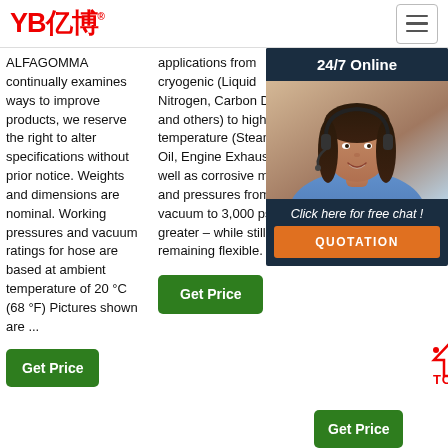[Figure (logo): YB亿博 logo in red with registered trademark symbol]
ALFAGOMMA continually examines ways to improve products, we reserve the right to alter specifications without prior notice. Weights and dimensions are nominal. Working pressures and vacuum ratings for hose are based at ambient temperature of 20 °C (68 °F) Pictures shown are ...
applications from cryogenic (Liquid Nitrogen, Carbon Dioxide and others) to high temperature (Steam, Hot Oil, Engine Exhaust), as well as corrosive media and pressures from full vacuum to 3,000 psi or greater – while still remaining flexible.
wire braided hydraulic hose Steel Wire Hydraulic SAE EN details info Chemical Wire Hydraulic SAE EN other... Hengshui Zhongbo Imp.
[Figure (photo): Customer service representative with headset, 24/7 Online overlay panel with Click here for free chat and QUOTATION button]